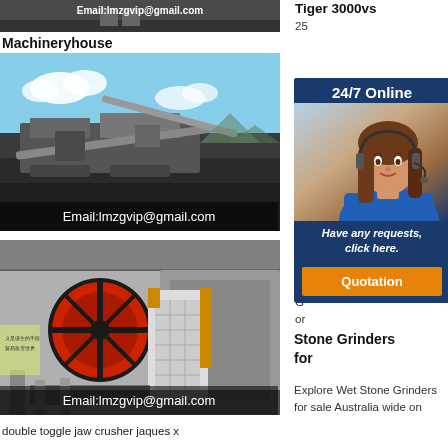[Figure (photo): Cropped top image showing machinery/equipment with email text overlay]
Machineryhouse
[Figure (photo): Large mobile stone crusher/screening plant in outdoor industrial setting with Email:lmzgvip@gmail.com overlay]
[Figure (photo): Double toggle jaw crusher machine in factory/warehouse with Email:lmzgvip@gmail.com overlay]
Tiger 3000vs
[Figure (infographic): 24/7 Online customer support widget with woman wearing headset photo, 'Have any requests, click here.' text, and Quotation button]
Stone Grinders for
Explore Wet Stone Grinders for sale Australia wide on
double toggle jaw crusher jaques x